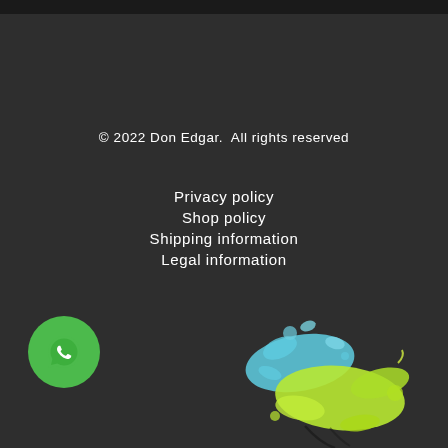© 2022 Don Edgar.  All rights reserved
Privacy policy
Shop policy
Shipping information
Legal information
[Figure (logo): WhatsApp chat button - green circle with white speech bubble/phone icon]
[Figure (illustration): Colorful paint splash in blue and green/yellow colors with partial logo text visible at bottom]